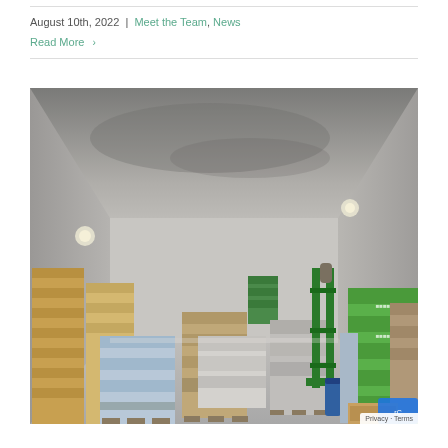August 10th, 2022 | Meet the Team, News
Read More >
[Figure (photo): Interior of a warehouse or storage room with concrete walls and ceiling, showing pallets stacked with boxed goods including green-packaged products on the right, water bottles and canned goods, and a green metal hand truck/forklift equipment in the center-right area.]
Privacy · Terms